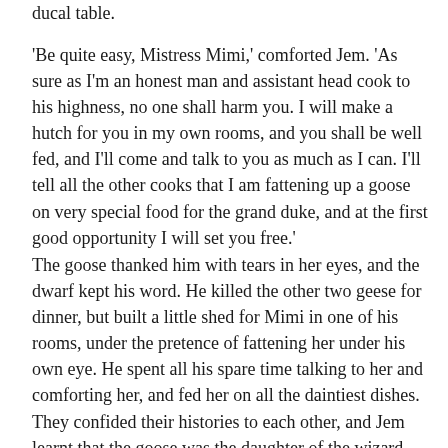ducal table.
'Be quite easy, Mistress Mimi,' comforted Jem. 'As sure as I'm an honest man and assistant head cook to his highness, no one shall harm you. I will make a hutch for you in my own rooms, and you shall be well fed, and I'll come and talk to you as much as I can. I'll tell all the other cooks that I am fattening up a goose on very special food for the grand duke, and at the first good opportunity I will set you free.'
The goose thanked him with tears in her eyes, and the dwarf kept his word. He killed the other two geese for dinner, but built a little shed for Mimi in one of his rooms, under the pretence of fattening her under his own eye. He spent all his spare time talking to her and comforting her, and fed her on all the daintiest dishes. They confided their histories to each other, and Jem learnt that the goose was the daughter of the wizard Weatherbold, who lived on the island of Gothland. He